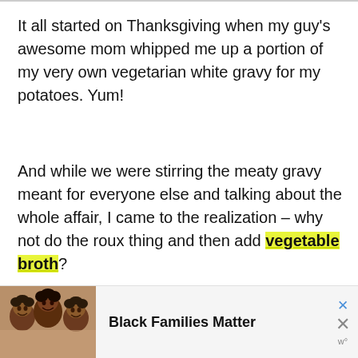It all started on Thanksgiving when my guy's awesome mom whipped me up a portion of my very own vegetarian white gravy for my potatoes. Yum!
And while we were stirring the meaty gravy meant for everyone else and talking about the whole affair, I came to the realization – why not do the roux thing and then add vegetable broth?
[Figure (photo): Advertisement banner at the bottom showing a photo of a family (people smiling) on the left, with bold text 'Black Families Matter' and close buttons on the right.]